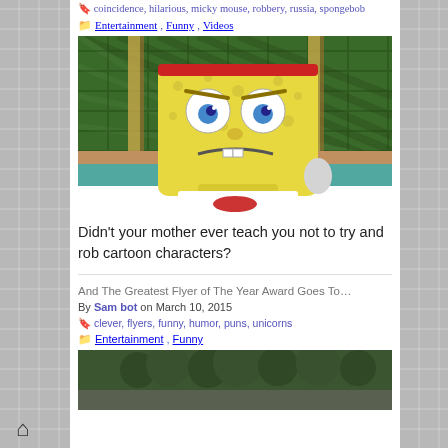coincidence, hilarious, micky mouse, robbery, russia, spongebob
Entertainment, Funny, Videos
[Figure (photo): SpongeBob SquarePants character looking angry/upset, wearing a red headband, with a woven green background and sandy floor]
Didn't your mother ever teach you not to try and rob cartoon characters?
And The Greatest Flyer of The Year Award Goes To…
By Sam bot on March 10, 2015
clever, flyers, funny, humor, puns, unicorns
Entertainment, Funny
[Figure (photo): Partially visible photo of trees/nature with a vehicle]